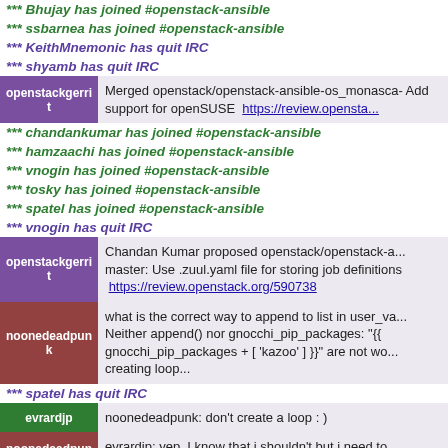*** Bhujay has joined #openstack-ansible
*** ssbarnea has joined #openstack-ansible
*** KeithMnemonic has quit IRC
*** shyamb has quit IRC
openstackgerrit: Merged openstack/openstack-ansible-os_monasca- Add support for openSUSE https://review.opensta...
*** chandankumar has joined #openstack-ansible
*** hamzaachi has joined #openstack-ansible
*** vnogin has joined #openstack-ansible
*** tosky has joined #openstack-ansible
*** spatel has joined #openstack-ansible
*** vnogin has quit IRC
openstackgerrit: Chandan Kumar proposed openstack/openstack-a... master: Use .zuul.yaml file for storing job definitions https://review.openstack.org/590738
noonedeadpunk: what is the correct way to append to list in user_va... Neither append() nor gnocchi_pip_packages: "{{ gnocchi_pip_packages + [ 'kazoo' ] }}" are not wo... creating loop...
*** spatel has quit IRC
evrardjp: noonedeadpunk: don't create a loop : )
noonedeadpunk: evrardjp: yep, I know that i shouldn't but i need to... package to the pip list - what the best way to do it?...